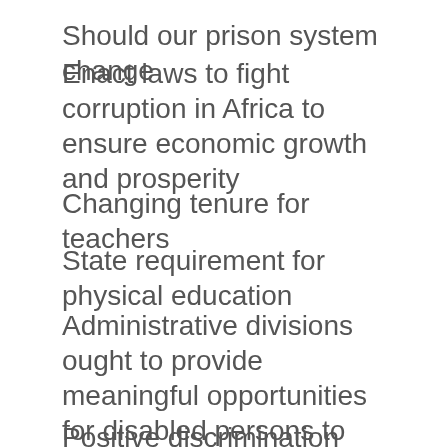Should our prison system change
Enact laws to fight corruption in Africa to ensure economic growth and prosperity
Changing tenure for teachers
State requirement for physical education
Administrative divisions ought to provide meaningful opportunities for disabled persons to access
Positive discrimination and affirmative